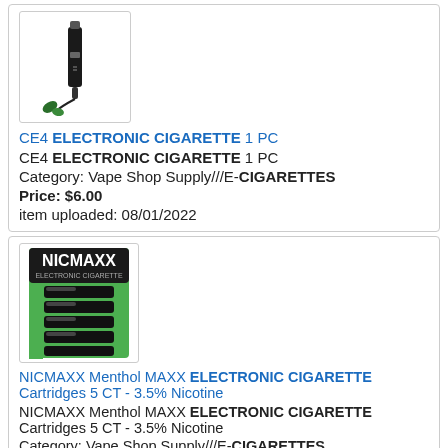[Figure (photo): CE4 Electronic Cigarette product image showing a vape pen device in packaging]
CE4 ELECTRONIC CIGARETTE 1 PC
CE4 ELECTRONIC CIGARETTE 1 PC
Category: Vape Shop Supply///E-CIGARETTES
Price: $6.00
item uploaded: 08/01/2022
[Figure (photo): NICMAXX Menthol MAXX Electronic Cigarette Cartridges 5 CT product image showing black cartridges in green packaging]
NICMAXX Menthol MAXX ELECTRONIC CIGARETTE Cartridges 5 CT - 3.5% Nicotine
NICMAXX Menthol MAXX ELECTRONIC CIGARETTE Cartridges 5 CT - 3.5% Nicotine
Category: Vape Shop Supply///E-CIGARETTES
Price: $15.99